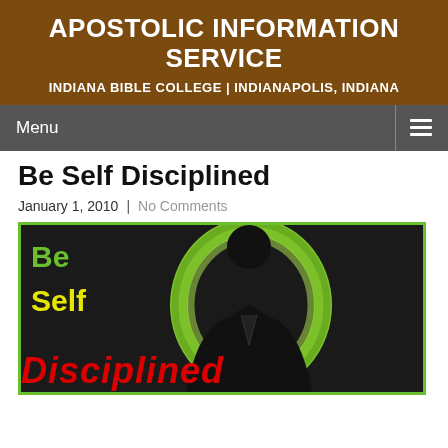APOSTOLIC INFORMATION SERVICE
INDIANA BIBLE COLLEGE | INDIANAPOLIS, INDIANA
Be Self Disciplined
January 1, 2010  |  No Comments
[Figure (illustration): Motivational graphic with dark background, green glowing ring, black silhouette of a man in a suit, with text: 'Be' in green, 'Self' in yellow, 'Disciplined' in red italic.]